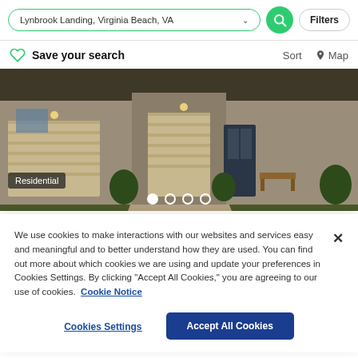Lynbrook Landing, Virginia Beach, VA
Filters
Save your search
Sort   Map
[Figure (photo): Exterior photo of a residential home with garage, front door, and landscaping at dusk]
Residential
$400,000 USD
5 Bds | 4 Ba | 2,384 Sqft
We use cookies to make interactions with our websites and services easy and meaningful and to better understand how they are used. You can find out more about which cookies we are using and update your preferences in Cookies Settings. By clicking “Accept All Cookies,” you are agreeing to our use of cookies.  Cookie Notice
Cookies Settings
Accept All Cookies